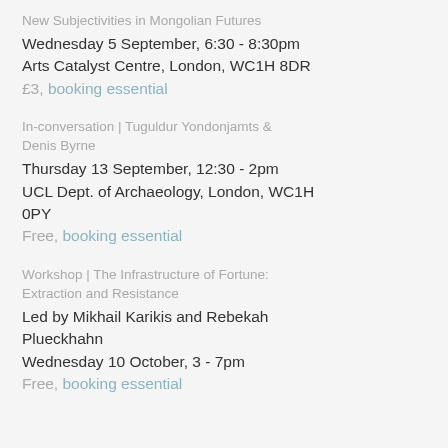New Subjectivities in Mongolian Futures
Wednesday 5 September, 6:30 - 8:30pm
Arts Catalyst Centre, London, WC1H 8DR
£3, booking essential
In-conversation | Tuguldur Yondonjamts & Denis Byrne
Thursday 13 September, 12:30 - 2pm
UCL Dept. of Archaeology, London, WC1H 0PY
Free, booking essential
Workshop | The Infrastructure of Fortune: Extraction and Resistance
Led by Mikhail Karikis and Rebekah Plueckhahn
Wednesday 10 October, 3 - 7pm
Free, booking essential